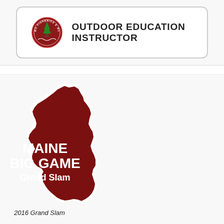[Figure (logo): Maine Fisheries & Wildlife circular badge/seal logo next to bold text reading OUTDOOR EDUCATION INSTRUCTOR, enclosed in a rounded rectangle border]
[Figure (illustration): Maine Big Game Grand Slam sticker/logo shaped as the state of Maine outline in dark red/maroon color with white outline and white bold text reading MAINE BIG GAME Grand Slam]
2016 Grand Slam